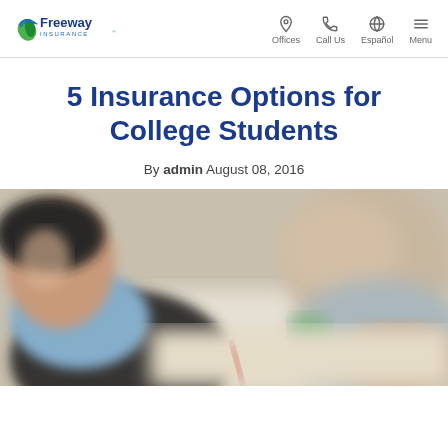Freeway Insurance — Offices, Call Us, Español, Menu
5 Insurance Options for College Students
By admin  August 08, 2016
[Figure (photo): Blurred close-up photo of college students studying, writing at a desk. Students visible in foreground and background, soft focus.]